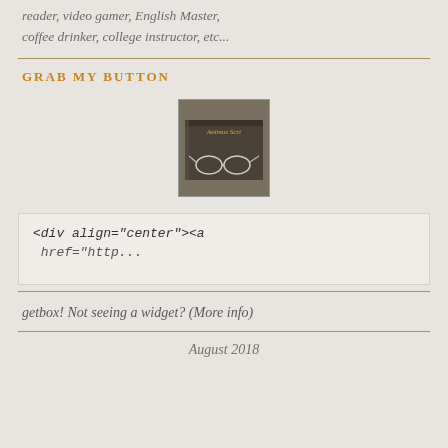reader, video gamer, English Master, coffee drinker, college instructor, etc...
GRAB MY BUTTON
[Figure (photo): A book with glasses on top, with text 'Animus Scri' visible on cover — a blog button image]
<div align="center"><a href="http...
getbox! Not seeing a widget? (More info)
August 2018